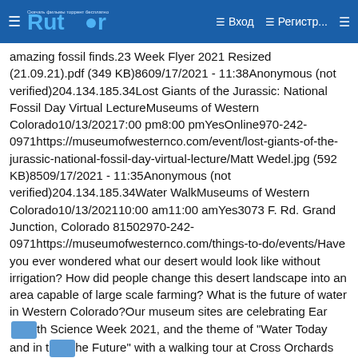Rutor — Вход — Регистр...
amazing fossil finds.23 Week Flyer 2021 Resized (21.09.21).pdf (349 KB)8609/17/2021 - 11:38Anonymous (not verified)204.134.185.34Lost Giants of the Jurassic: National Fossil Day Virtual LectureMuseums of Western Colorado10/13/20217:00 pm8:00 pmYesOnline970-242-0971https://museumofwesternco.com/event/lost-giants-of-the-jurassic-national-fossil-day-virtual-lecture/Matt Wedel.jpg (592 KB)8509/17/2021 - 11:35Anonymous (not verified)204.134.185.34Water WalkMuseums of Western Colorado10/13/202110:00 am11:00 amYes3073 F. Rd. Grand Junction, Colorado 81502970-242-0971https://museumofwesternco.com/things-to-do/events/Have you ever wondered what our desert would look like without irrigation? How did people change this desert landscape into an area capable of large scale farming? What is the future of water in Western Colorado?Our museum sites are celebrating Earth Science Week 2021, and the theme of "Water Today and in the Future" with a walking tour at Cross Orchards Historic Site. This water walk will emphasize development, use, and planning for water shortage This one hour guided walking tour of the